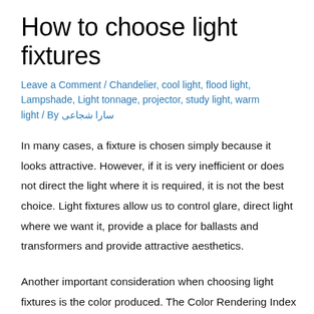How to choose light fixtures
Leave a Comment / Chandelier, cool light, flood light, Lampshade, Light tonnage, projector, study light, warm light / By سارا شجاعی
In many cases, a fixture is chosen simply because it looks attractive. However, if it is very inefficient or does not direct the light where it is required, it is not the best choice. Light fixtures allow us to control glare, direct light where we want it, provide a place for ballasts and transformers and provide attractive aesthetics.
Another important consideration when choosing light fixtures is the color produced. The Color Rendering Index (CRI) is a scale, from 0 to 100, which describes how well colors are rendered under a particular light source.